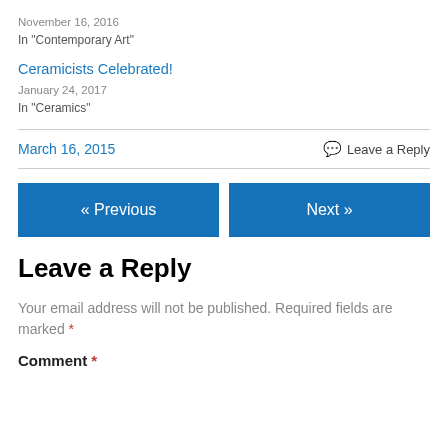November 16, 2016
In "Contemporary Art"
Ceramicists Celebrated!
January 24, 2017
In "Ceramics"
March 16, 2015
Leave a Reply
« Previous
Next »
Leave a Reply
Your email address will not be published. Required fields are marked *
Comment *